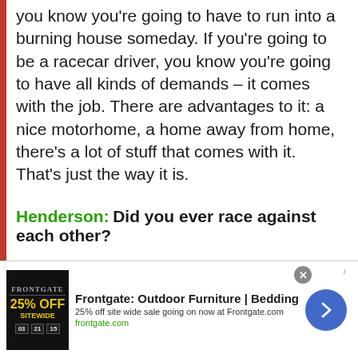you know you're going to have to run into a burning house someday. If you're going to be a racecar driver, you know you're going to have all kinds of demands – it comes with the job. There are advantages to it: a nice motorhome, a home away from home, there's a lot of stuff that comes with it. That's just the way it is.
Henderson: Did you ever race against each other?
Johnson: We raced against each other in the Mickey Thompson Off-Road division in Superlites. We had one battle going in
[Figure (other): Advertisement banner for Frontgate: Outdoor Furniture & Bedding. Shows 25% off sitewide sale at Frontgate.com. Includes product image with countdown timer, Frontgate logo, ad text, and a blue circular arrow button.]